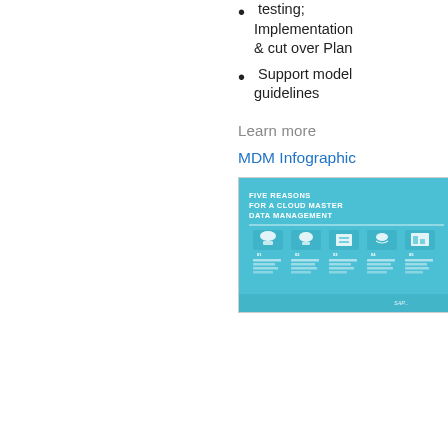testing; Implementation & cut over Plan
Support model guidelines
Learn more
MDM Infographic
[Figure (infographic): MDM Infographic thumbnail: Five Reasons for a Cloud Master Data Management, teal/blue background with five icons and columns of text]